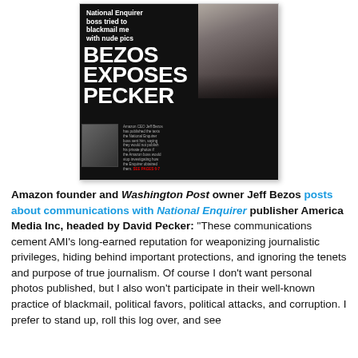[Figure (photo): Magazine cover of National Enquirer showing headline 'BEZOS EXPOSES PECKER' with subheading 'National Enquirer boss tried to blackmail me with nude pics', featuring photo of two people (a woman and a man) on a dark background, with a small inset photo at bottom left and small text block at bottom right.]
Amazon founder and Washington Post owner Jeff Bezos posts about communications with National Enquirer publisher America Media Inc, headed by David Pecker: "These communications cement AMI's long-earned reputation for weaponizing journalistic privileges, hiding behind important protections, and ignoring the tenets and purpose of true journalism. Of course I don't want personal photos published, but I also won't participate in their well-known practice of blackmail, political favors, political attacks, and corruption. I prefer to stand up, roll this log over, and see